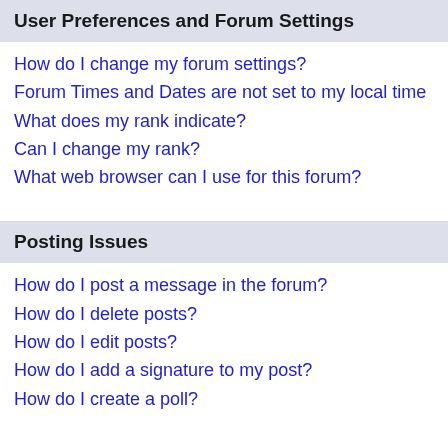User Preferences and Forum Settings
How do I change my forum settings?
Forum Times and Dates are not set to my local time
What does my rank indicate?
Can I change my rank?
What web browser can I use for this forum?
Posting Issues
How do I post a message in the forum?
How do I delete posts?
How do I edit posts?
How do I add a signature to my post?
How do I create a poll?